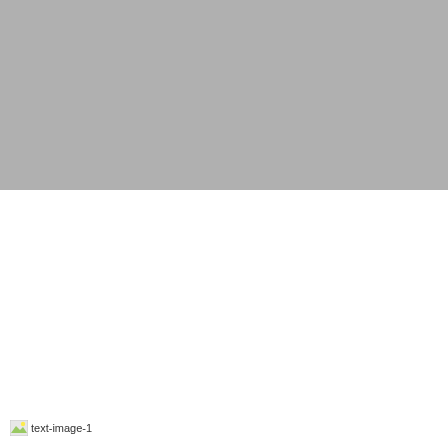[Figure (other): Large gray rectangle occupying the top portion of the page, appearing as a solid gray block or placeholder image area.]
text-image-1